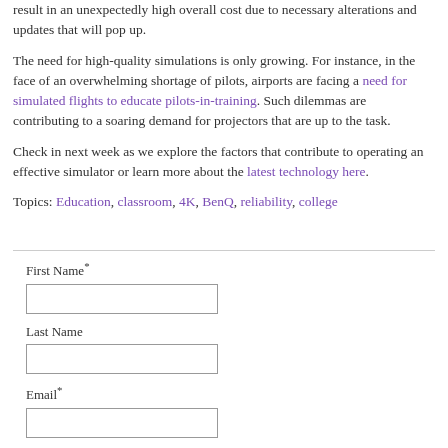result in an unexpectedly high overall cost due to necessary alterations and updates that will pop up.
The need for high-quality simulations is only growing. For instance, in the face of an overwhelming shortage of pilots, airports are facing a need for simulated flights to educate pilots-in-training. Such dilemmas are contributing to a soaring demand for projectors that are up to the task.
Check in next week as we explore the factors that contribute to operating an effective simulator or learn more about the latest technology here.
Topics: Education, classroom, 4K, BenQ, reliability, college